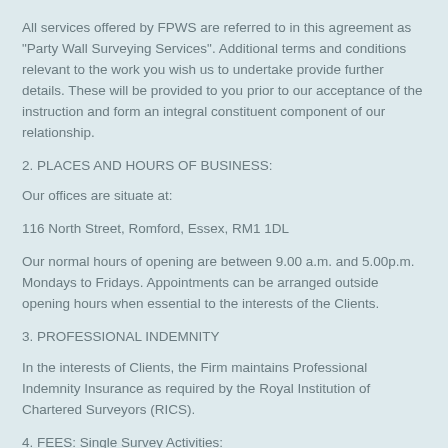All services offered by FPWS are referred to in this agreement as "Party Wall Surveying Services". Additional terms and conditions relevant to the work you wish us to undertake provide further details. These will be provided to you prior to our acceptance of the instruction and form an integral constituent component of our relationship.
2. PLACES AND HOURS OF BUSINESS:
Our offices are situate at:
116 North Street, Romford, Essex, RM1 1DL
Our normal hours of opening are between 9.00 a.m. and 5.00p.m. Mondays to Fridays. Appointments can be arranged outside opening hours when essential to the interests of the Clients.
3. PROFESSIONAL INDEMNITY
In the interests of Clients, the Firm maintains Professional Indemnity Insurance as required by the Royal Institution of Chartered Surveyors (RICS).
4. FEES: Single Survey Activities: